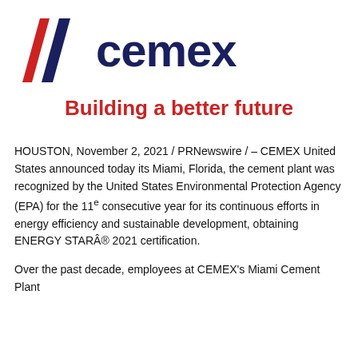[Figure (logo): CEMEX logo with two diagonal slash marks in red and navy blue, followed by CEMEX text in dark navy bold font]
Building a better future
HOUSTON, November 2, 2021 / PRNewswire / – CEMEX United States announced today its Miami, Florida, the cement plant was recognized by the United States Environmental Protection Agency (EPA) for the 11e consecutive year for its continuous efforts in energy efficiency and sustainable development, obtaining ENERGY STARÂ® 2021 certification.
Over the past decade, employees at CEMEX's Miami Cement Plant